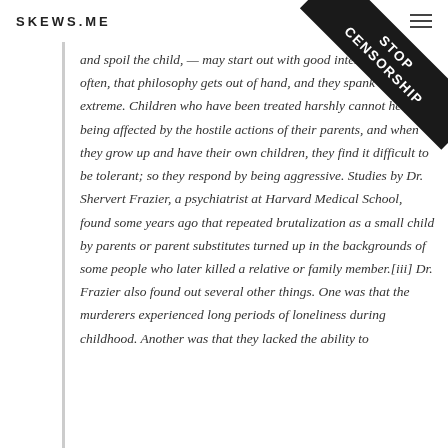SKEWS.ME
[Figure (other): Stop Censorship diagonal ribbon banner in top-right corner]
and spoil the child, — may start out with good intentions, but often, that philosophy gets out of hand, and they spank to an extreme. Children who have been treated harshly cannot help being affected by the hostile actions of their parents, and when they grow up and have their own children, they find it difficult to be tolerant; so they respond by being aggressive. Studies by Dr. Shervert Frazier, a psychiatrist at Harvard Medical School, found some years ago that repeated brutalization as a small child by parents or parent substitutes turned up in the backgrounds of some people who later killed a relative or family member.[iii] Dr. Frazier also found out several other things. One was that the murderers experienced long periods of loneliness during childhood. Another was that they lacked the ability to